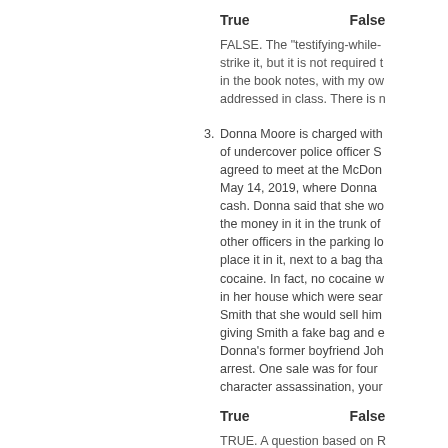True    False
FALSE. The "testifying-while- strike it, but it is not required t in the book notes, with my ow addressed in class. There is n
3. Donna Moore is charged with of undercover police officer S agreed to meet at the McDon May 14, 2019, where Donna cash. Donna said that she wo the money in it in the trunk of other officers in the parking lo place it in it, next to a bag tha cocaine. In fact, no cocaine w in her house which were sear Smith that she would sell him giving Smith a fake bag and e Donna's former boyfriend Joh arrest. One sale was for four character assassination, your
True    False
TRUE. A question based on R